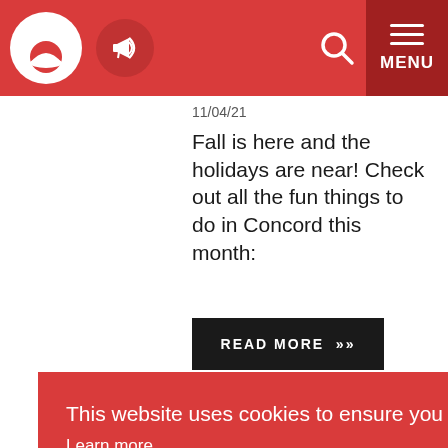Concord city website header with logo, megaphone icon, search icon, and MENU button
11/04/21
Fall is here and the holidays are near! Check out all the fun things to do in Concord this month:
READ MORE »
Previous  Next
This website uses cookies to ensure you get the best experience on our website.
Learn more
Got it!